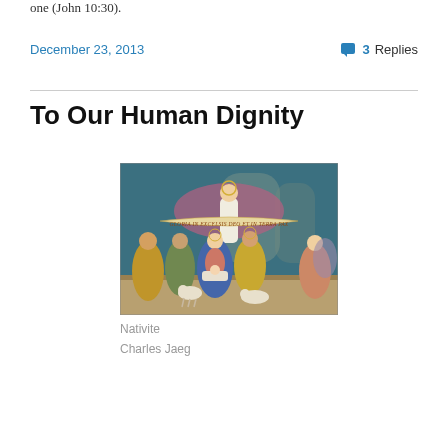one (John 10:30).
December 23, 2013   💬 3 Replies
To Our Human Dignity
[Figure (illustration): A nativity scene painting showing an angel above with a banner reading 'GLORIA IN EXCELSIS DEO ET IN TERRA PAX', with Mary, Joseph, baby Jesus, shepherds, and animals. The scene is rendered in a classical religious painting style.]
Nativite
Charles Jaeg